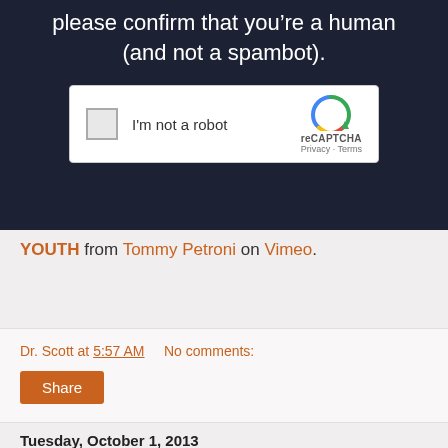[Figure (screenshot): A reCAPTCHA widget on a dark navy background. Text reads 'please confirm that you’re a human (and not a spambot).' with a white reCAPTCHA checkbox widget below showing 'I'm not a robot' and the reCAPTCHA logo with Privacy and Terms links.]
YOUTH from Tommy Petroni on Vimeo.
Dr. Scott at 5:57 AM   No comments:
Share
Tuesday, October 1, 2013